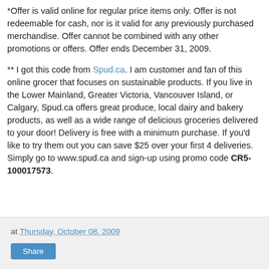*Offer is valid online for regular price items only. Offer is not redeemable for cash, nor is it valid for any previously purchased merchandise. Offer cannot be combined with any other promotions or offers. Offer ends December 31, 2009.
** I got this code from Spud.ca. I am customer and fan of this online grocer that focuses on sustainable products. If you live in the Lower Mainland, Greater Victoria, Vancouver Island, or Calgary, Spud.ca offers great produce, local dairy and bakery products, as well as a wide range of delicious groceries delivered to your door! Delivery is free with a minimum purchase. If you'd like to try them out you can save $25 over your first 4 deliveries. Simply go to www.spud.ca and sign-up using promo code CR5-100017573.
at Thursday, October 08, 2009